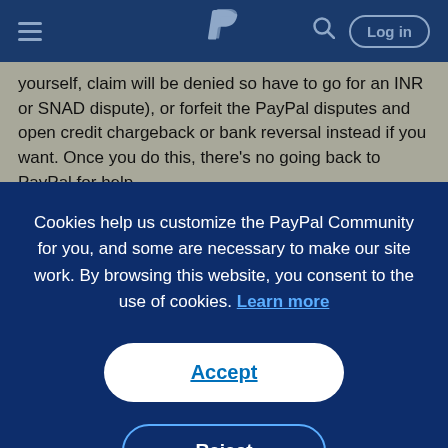PayPal navigation bar with hamburger menu, PayPal logo, search icon, and Log in button
yourself, claim will be denied so have to go for an INR or SNAD dispute), or forfeit the PayPal disputes and open credit chargeback or bank reversal instead if you want. Once you do this, there's no going back to PayPal for help.
Cookies help us customize the PayPal Community for you, and some are necessary to make our site work. By browsing this website, you consent to the use of cookies. Learn more
Accept
Reject